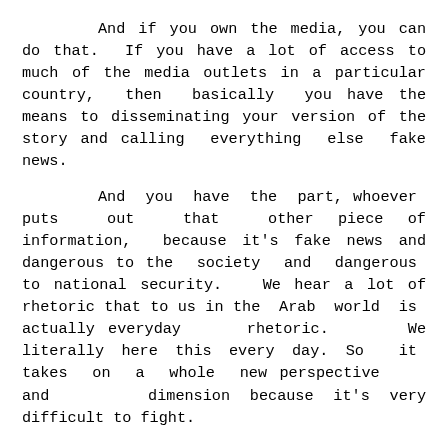And if you own the media, you can do that.  If you have a lot of access to much of the media outlets in a particular country,  then  basically  you have the means to disseminating your version of the story and calling  everything  else  fake news.
And  you  have  the  part, whoever  puts  out  that  other piece of information,  because it's fake news and dangerous to the  society  and  dangerous  to national security.   We hear a lot of rhetoric that to us in the  Arab  world  is  actually everyday     rhetoric.      We literally here this every day. So  it  takes  on  a  whole  new perspective     and     dimension because it's very difficult to fight.